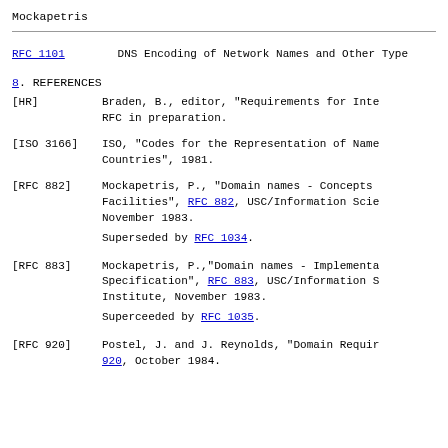Mockapetris
RFC 1101    DNS Encoding of Network Names and Other Type
8. REFERENCES
[HR]         Braden, B., editor, "Requirements for Inte... RFC in preparation.
[ISO 3166]   ISO, "Codes for the Representation of Name... Countries", 1981.
[RFC 882]    Mockapetris, P., "Domain names - Concepts ... Facilities", RFC 882, USC/Information Scie... November 1983.

Superseded by RFC 1034.
[RFC 883]    Mockapetris, P.,"Domain names - Implementa... Specification", RFC 883, USC/Information S... Institute, November 1983.

Superceeded by RFC 1035.
[RFC 920]    Postel, J. and J. Reynolds, "Domain Requi... 920, October 1984.